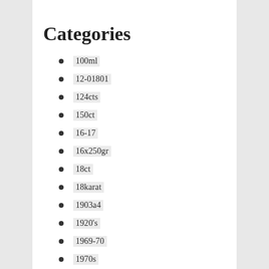Categories
100ml
12-01801
124cts
150ct
16-17
16x250gr
18ct
18karat
1903a4
1920's
1969-70
1970s
1978-1982